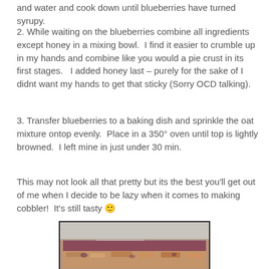and water and cook down until blueberries have turned syrupy.
2. While waiting on the blueberries combine all ingredients except honey in a mixing bowl.  I find it easier to crumble up in my hands and combine like you would a pie crust in its first stages.   I added honey last – purely for the sake of I didnt want my hands to get that sticky (Sorry OCD talking).
3. Transfer blueberries to a baking dish and sprinkle the oat mixture ontop evenly.  Place in a 350° oven until top is lightly browned.  I left mine in just under 30 min.
This may not look all that pretty but its the best you'll get out of me when I decide to be lazy when it comes to making cobbler!  It's still tasty 🙂
[Figure (photo): A baking dish containing blueberry cobbler with an oat topping, viewed from above at an angle. The dish shows a reddish-purple blueberry filling with a crumbly golden-brown oat topping.]